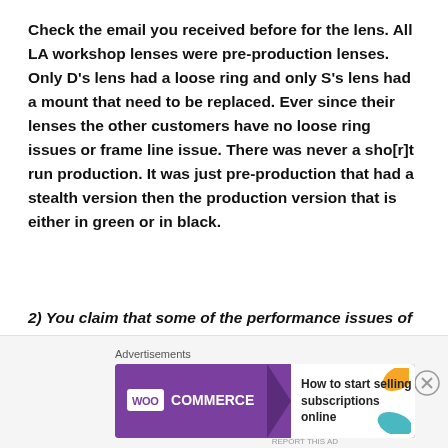Check the email you received before for the lens. All LA workshop lenses were pre-production lenses. Only D’s lens had a loose ring and only S’s lens had a mount that need to be replaced. Ever since their lenses the other customers have no loose ring issues or frame line issue. There was never a sho[r]t run production. It was just pre-production that had a stealth version then the production version that is either in green or in black.
2) You claim that some of the performance issues of the pre-production models were caused by poor packaging, which you have since changed- So, with
[Figure (other): WooCommerce advertisement banner at bottom of page with purple background, arrow shape, and text 'How to start selling subscriptions online' with decorative leaf shapes in orange and blue/teal]